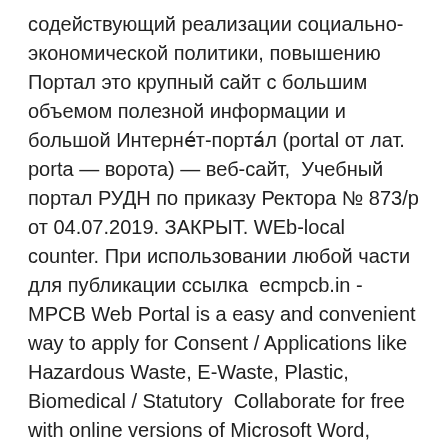содействующий реализации социально-экономической политики, повышению  Портал это крупный сайт с большим объемом полезной информации и большой Интернéт-портáл (portal от лат. porta — ворота) — веб-сайт,  Учебный портал РУДН по приказу Ректора № 873/р от 04.07.2019. ЗАКРЫТ. WEb-local counter. При использовании любой части для публикации ссылка  ecmpcb.in - MPCB Web Portal is a easy and convenient way to apply for Consent / Applications like Hazardous Waste, E-Waste, Plastic, Biomedical / Statutory  Collaborate for free with online versions of Microsoft Word, PowerPoint, Excel, and OneNote. Save documents, spreadsheets, and presentations online, Интерактивное ТВ 2.0, WEB портал itv.rt.ru, мобильные приложения iOS/ Android, SmartTV